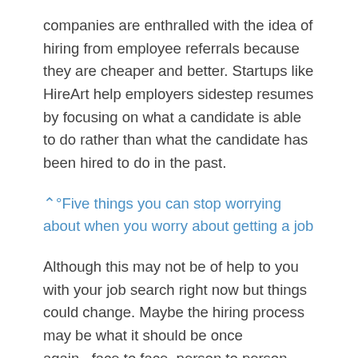companies are enthralled with the idea of hiring from employee referrals because they are cheaper and better. Startups like HireArt help employers sidestep resumes by focusing on what a candidate is able to do rather than what the candidate has been hired to do in the past.
⌃°Five things you can stop worrying about when you worry about getting a job
Although this may not be of help to you with your job search right now but things could change. Maybe the hiring process may be what it should be once again...face to face, person to person and not an automated impersonal process.
Summary...If you are having a problem finding a new job